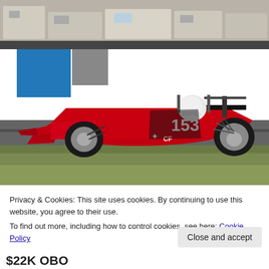[Figure (photo): A red Formula Ford open-wheel race car numbered 153 with 'CF' markings, driven by a helmeted driver on a racing circuit. Trailers and buildings visible in the background. Motion blur on ground suggesting speed.]
Privacy & Cookies: This site uses cookies. By continuing to use this website, you agree to their use.
To find out more, including how to control cookies, see here: Cookie Policy
Close and accept
$22K OBO